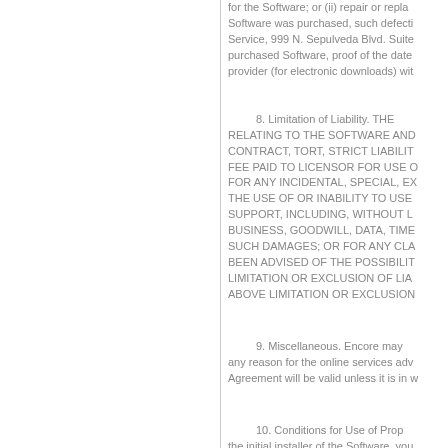for the Software; or (ii) repair or repla... Software was purchased, such defecti... Service, 999 N. Sepulveda Blvd. Suite... purchased Software, proof of the date... provider (for electronic downloads) wit...
8.  Limitation of Liability.    THE... RELATING TO THE SOFTWARE AND... CONTRACT, TORT, STRICT LIABILIT... FEE PAID TO LICENSOR FOR USE O... FOR ANY INCIDENTAL, SPECIAL, EX... THE USE OF OR INABILITY TO USE ... SUPPORT, INCLUDING, WITHOUT L... BUSINESS, GOODWILL, DATA, TIME... SUCH DAMAGES; OR FOR ANY CLA... BEEN ADVISED OF THE POSSIBILIT... LIMITATION OR EXCLUSION OF LIA... ABOVE LIMITATION OR EXCLUSION...
9.  Miscellaneous.  Encore may... any reason for the online services adv... Agreement will be valid unless it is in w...
10.  Conditions for Use of Prop... the initial installer of the Software, you... proof of purchase to the place it was p... Encore hereby reserves the right to ch...